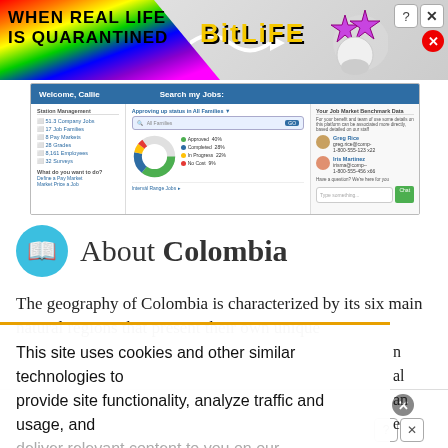[Figure (screenshot): Advertisement banner for BitLife game with rainbow background and 'When Real Life Is Quarantined' text]
[Figure (screenshot): Screenshot of a job management web application showing Welcome Callie header, navigation menu with company jobs, job families, pay markets, grades, employees, surveys, a donut chart of job statuses (Approved, Completed, In Progress, No Cost), and a contacts panel with Greg Rice and Iris Martinez]
About Colombia
The geography of Colombia is characterized by its six main natural regions that present their own unique
This site uses cookies and other similar technologies to provide site functionality, analyze traffic and usage, and deliver...